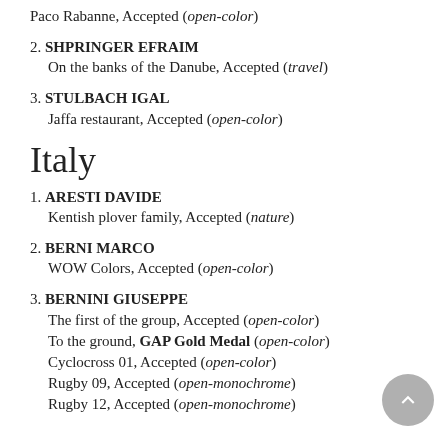Paco Rabanne, Accepted (open-color)
2. SHPRINGER EFRAIM
On the banks of the Danube, Accepted (travel)
3. STULBACH IGAL
Jaffa restaurant, Accepted (open-color)
Italy
1. ARESTI DAVIDE
Kentish plover family, Accepted (nature)
2. BERNI MARCO
WOW Colors, Accepted (open-color)
3. BERNINI GIUSEPPE
The first of the group, Accepted (open-color)
To the ground, GAP Gold Medal (open-color)
Cyclocross 01, Accepted (open-color)
Rugby 09, Accepted (open-monochrome)
Rugby 12, Accepted (open-monochrome)